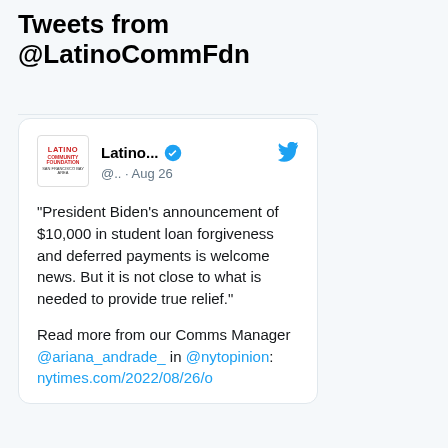Tweets from @LatinoCommFdn
[Figure (screenshot): Tweet from Latino Community Foundation (@LatinoCommFdn) verified account dated Aug 26, quoting: “President Biden’s announcement of $10,000 in student loan forgiveness and deferred payments is welcome news. But it is not close to what is needed to provide true relief.” Read more from our Comms Manager @ariana_andrade_ in @nytopinion: nytimes.com/2022/08/26/o]